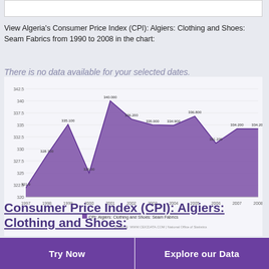View Algeria's Consumer Price Index (CPI): Algiers: Clothing and Shoes: Seam Fabrics from 1990 to 2008 in the chart:
There is no data available for your selected dates.
[Figure (area-chart): CPI: Algiers: Clothing and Shoes: Seam Fabrics]
Consumer Price Index (CPI): Algiers: Clothing and Shoes:
Try Now    Explore our Data